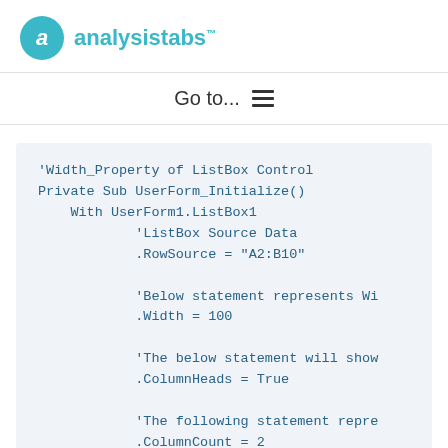analysistabs™
Go to... ☰
'Width_Property of ListBox Control
Private Sub UserForm_Initialize()
    With UserForm1.ListBox1
            'ListBox Source Data
            .RowSource = "A2:B10"

            'Below statement represents Wi
            .Width = 100

            'The below statement will show
            .ColumnHeads = True

            'The following statement repre
            .ColumnCount = 2
    End With